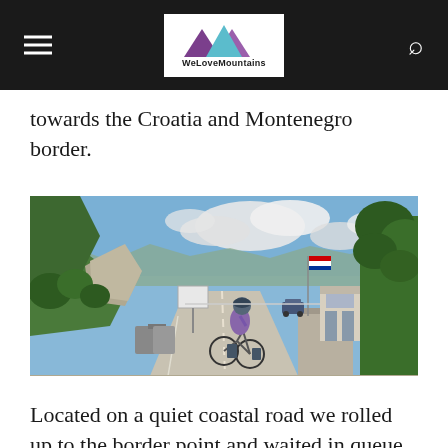WeLoveMountains
towards the Croatia and Montenegro border.
[Figure (photo): A cyclist riding on a road towards a border crossing between Croatia and Montenegro, with green hills, trees, a flag, and a border guard booth visible under a blue sky with clouds.]
Located on a quiet coastal road we rolled up to the border point and waited in queue next to two smart AMG Mercedes